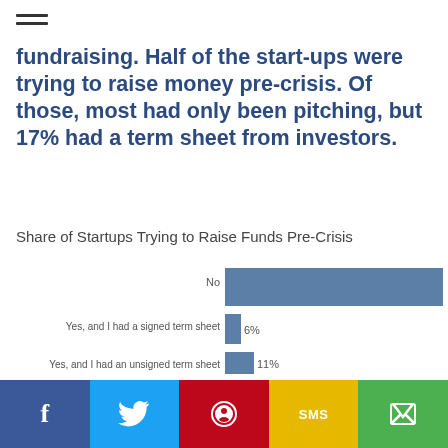fundraising. Half of the start-ups were trying to raise money pre-crisis. Of those, most had only been pitching, but 17% had a term sheet from investors.
Share of Startups Trying to Raise Funds Pre-Crisis
[Figure (bar-chart): Share of Startups Trying to Raise Funds Pre-Crisis]
f  [Twitter]  [Pinterest]  SMS  [Share]